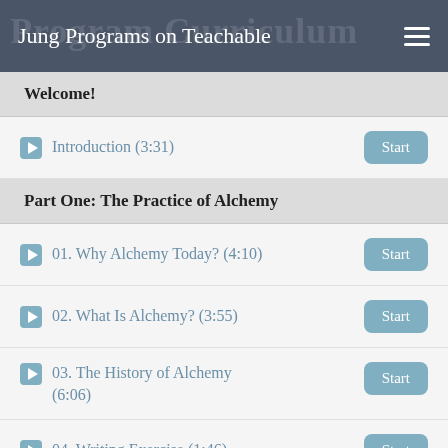Jung Programs on Teachable
Welcome!
Introduction (3:31)
Part One: The Practice of Alchemy
01. Why Alchemy Today? (4:10)
02. What Is Alchemy? (3:55)
03. The History of Alchemy (6:06)
04. Writing Exercise (1:46)
Part Two: Jung's Journey through